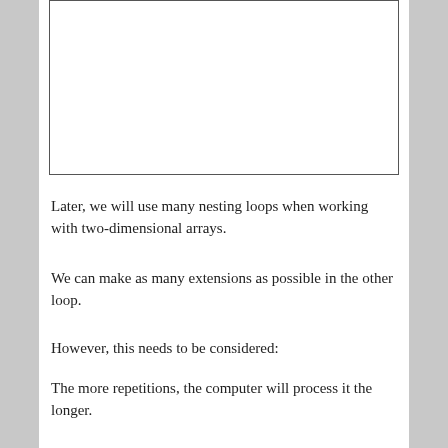[Figure (other): Empty white rectangle with border, likely a placeholder for a figure or diagram]
Later, we will use many nesting loops when working with two-dimensional arrays.
We can make as many extensions as possible in the other loop.
However, this needs to be considered:
The more repetitions, the computer will process it the longer.